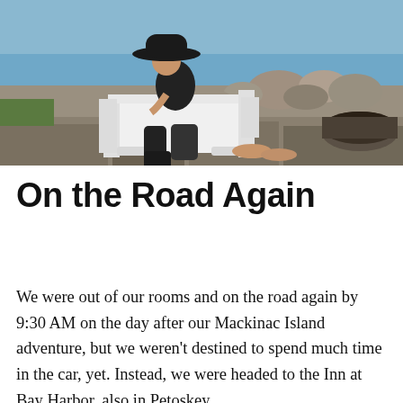[Figure (photo): A woman wearing a wide-brimmed black hat and black top with black-and-white patterned pants, sitting in a white Adirondack chair near a waterfront with rocks and a stone fire pit in the background.]
On the Road Again
We were out of our rooms and on the road again by 9:30 AM on the day after our Mackinac Island adventure, but we weren't destined to spend much time in the car, yet. Instead, we were headed to the Inn at Bay Harbor, also in Petoskey.